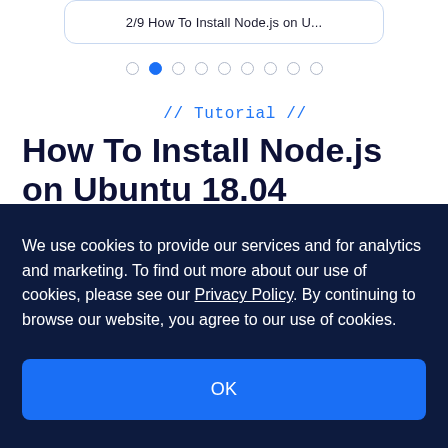[Figure (screenshot): Card with truncated text: '2/9 How To Install Node.js on U...' with rounded border]
[Figure (other): Pagination dots: 9 dots with the second one filled/active in blue]
// Tutorial //
How To Install Node.js on Ubuntu 18.04
We use cookies to provide our services and for analytics and marketing. To find out more about our use of cookies, please see our Privacy Policy. By continuing to browse our website, you agree to our use of cookies.
OK